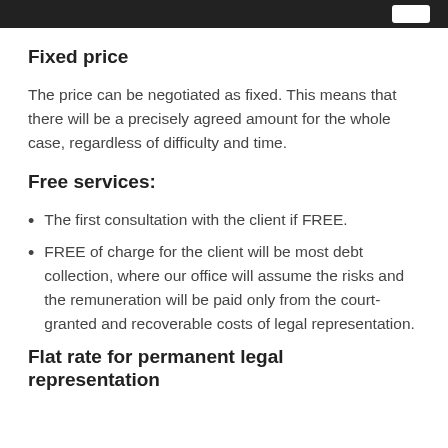Fixed price
The price can be negotiated as fixed. This means that there will be a precisely agreed amount for the whole case, regardless of difficulty and time.
Free services:
The first consultation with the client if FREE.
FREE of charge for the client will be most debt collection, where our office will assume the risks and the remuneration will be paid only from the court-granted and recoverable costs of legal representation.
Flat rate for permanent legal representation